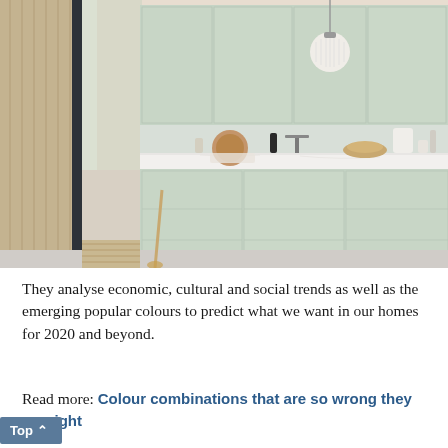[Figure (photo): Modern Scandinavian kitchen with mint/sage green flat-front cabinetry, white marble countertop, pendant globe light, and large floor-to-ceiling window with natural light. Various kitchen items on counter including cutting board, bread, and utensils.]
They analyse economic, cultural and social trends as well as the emerging popular colours to predict what we want in our homes for 2020 and beyond.
Read more: Colour combinations that are so wrong they are right